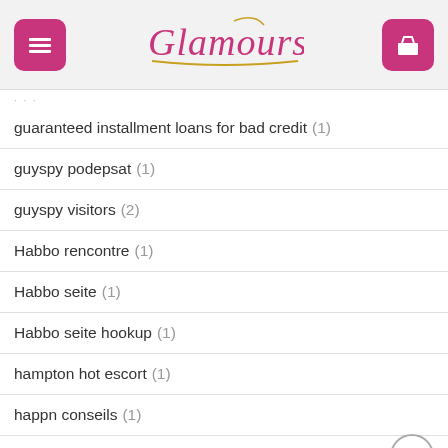Glamours
guaranteed installment loans for bad credit (1)
guyspy podepsat (1)
guyspy visitors (2)
Habbo rencontre (1)
Habbo seite (1)
Habbo seite hookup (1)
hampton hot escort (1)
happn conseils (1)
hartford review (1)
Heated Affairs seite hookup (1)